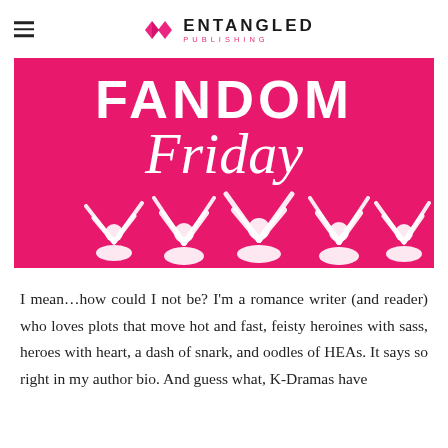ENTANGLED PUBLISHING
[Figure (illustration): Fandom Friday banner image: hot pink background with white silhouettes of fans with arms raised, 'FANDOM' in large block letters at top and 'Friday' in large cursive script below]
I mean…how could I not be? I'm a romance writer (and reader) who loves plots that move hot and fast, feisty heroines with sass, heroes with heart, a dash of snark, and oodles of HEAs. It says so right in my author bio. And guess what, K-Dramas have